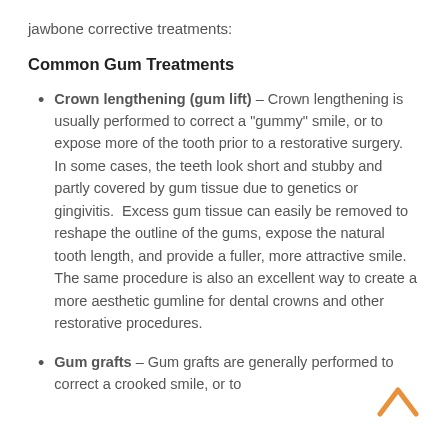jawbone corrective treatments:
Common Gum Treatments
Crown lengthening (gum lift) – Crown lengthening is usually performed to correct a "gummy" smile, or to expose more of the tooth prior to a restorative surgery. In some cases, the teeth look short and stubby and partly covered by gum tissue due to genetics or gingivitis. Excess gum tissue can easily be removed to reshape the outline of the gums, expose the natural tooth length, and provide a fuller, more attractive smile. The same procedure is also an excellent way to create a more aesthetic gumline for dental crowns and other restorative procedures.
Gum grafts – Gum grafts are generally performed to correct a crooked smile, or to